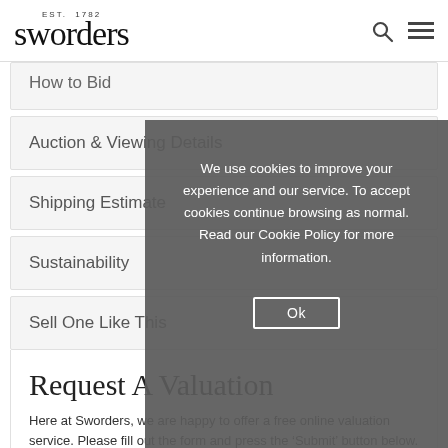EST. 1782 sworders
How to Bid
Auction & Viewing Details
Shipping Estimate
Sustainability
Sell One Like This
Request A Valuation
Here at Sworders, we are happy to offer a free online valuation service. Please fill out the form and press the ‘Submit’ button below.
To help us with your valuation please attach clear photographs of the item where possible. You can submit up to 5.
Approximate dimensions are also useful. Expect to hear from the
[Figure (screenshot): Cookie consent overlay popup with dark gray background. Text reads: 'We use cookies to improve your experience and our service. To accept cookies continue browsing as normal. Read our Cookie Policy for more information.' with an 'Ok' button.]